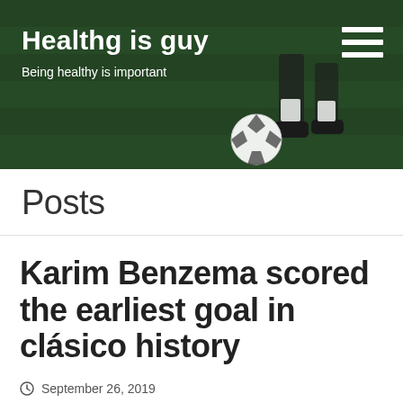Healthg is guy — Being healthy is important
Posts
Karim Benzema scored the earliest goal in clásico history
September 26, 2019
Amelia Harper